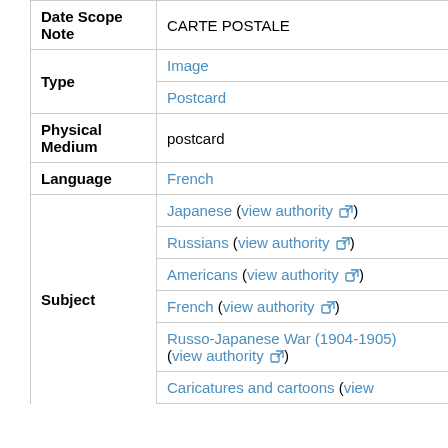| Field | Value |
| --- | --- |
| Date Scope Note | CARTE POSTALE |
| Type | Image |
| Type | Postcard |
| Physical Medium | postcard |
| Language | French |
| Subject | Japanese (view authority) |
| Subject | Russians (view authority) |
| Subject | Americans (view authority) |
| Subject | French (view authority) |
| Subject | Russo-Japanese War (1904-1905) (view authority) |
| Subject | Caricatures and cartoons (view... |